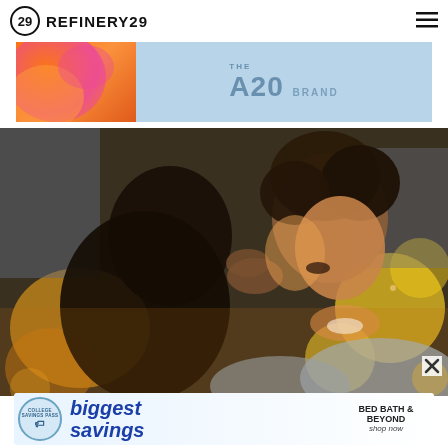REFINERY29
[Figure (illustration): Top advertisement banner for THE A20 BRAND with orange gradient on left and light blue on right]
[Figure (photo): Couple embracing outdoors at golden hour, woman smiling with curly hair, warm bokeh lights in background]
[Figure (illustration): Bottom advertisement banner: biggest savings - Bed Bath & Beyond - shop now, College Savings Pass badge on left]